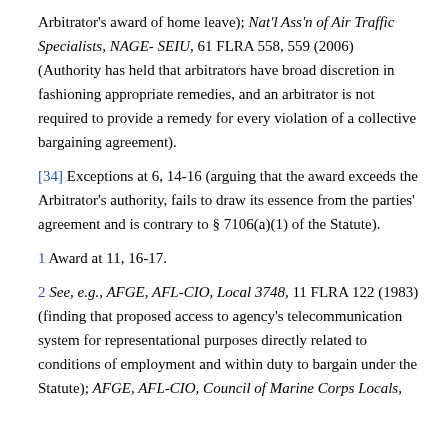Arbitrator's award of home leave); Nat'l Ass'n of Air Traffic Specialists, NAGE- SEIU, 61 FLRA 558, 559 (2006) (Authority has held that arbitrators have broad discretion in fashioning appropriate remedies, and an arbitrator is not required to provide a remedy for every violation of a collective bargaining agreement).
[34] Exceptions at 6, 14-16 (arguing that the award exceeds the Arbitrator's authority, fails to draw its essence from the parties' agreement and is contrary to § 7106(a)(1) of the Statute).
1 Award at 11, 16-17.
2 See, e.g., AFGE, AFL-CIO, Local 3748, 11 FLRA 122 (1983) (finding that proposed access to agency's telecommunication system for representational purposes directly related to conditions of employment and within duty to bargain under the Statute); AFGE, AFL-CIO, Council of Marine Corps Locals,